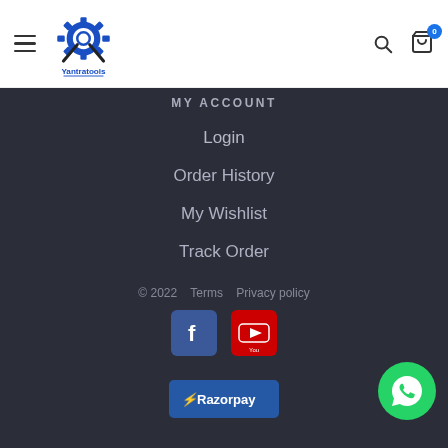[Figure (logo): Yantratools logo with gear and crossed wrench/hammer icons in blue]
MY ACCOUNT
Login
Order History
My Wishlist
Track Order
© 2022   Terms   Privacy policy
[Figure (logo): Facebook icon (blue square with f)]
[Figure (logo): YouTube icon (red square with play button)]
[Figure (logo): Razorpay payment badge (dark blue)]
[Figure (logo): WhatsApp floating button (green circle)]